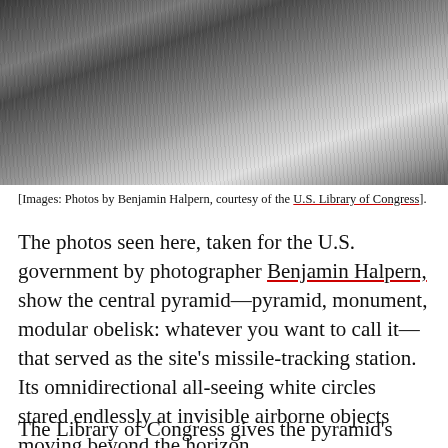[Figure (photo): Black and white photograph showing a field of tall grass or reeds with what appears to be a paved or stone surface visible in the upper right corner. The image has a landscape orientation.]
[Images: Photos by Benjamin Halpern, courtesy of the U.S. Library of Congress].
The photos seen here, taken for the U.S. government by photographer Benjamin Halpern, show the central pyramid—pyramid, monument, modular obelisk: whatever you want to call it—that served as the site's missile-tracking station. Its omnidirectional all-seeing white circles stared endlessly at invisible airborne objects moving beyond the horizon.
The Library of Congress gives the pyramid's location